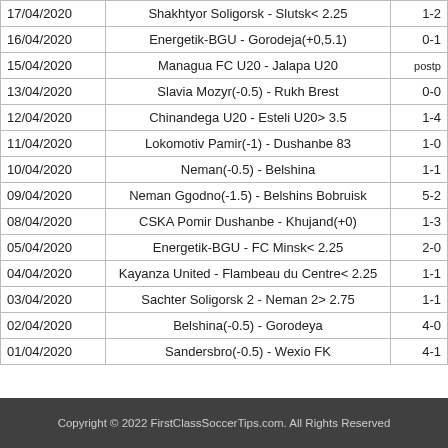| Date | Match | Score |
| --- | --- | --- |
| 17/04/2020 | Shakhtyor Soligorsk - Slutsk< 2.25 | 1-2 |
| 16/04/2020 | Energetik-BGU - Gorodeja(+0,5.1) | 0-1 |
| 15/04/2020 | Managua FC U20 - Jalapa U20 | postp |
| 13/04/2020 | Slavia Mozyr(-0.5) - Rukh Brest | 0-0 |
| 12/04/2020 | Chinandega U20 - Esteli U20> 3.5 | 1-4 |
| 11/04/2020 | Lokomotiv Pamir(-1) - Dushanbe 83 | 1-0 |
| 10/04/2020 | Neman(-0.5) - Belshina | 1-1 |
| 09/04/2020 | Neman Ggodno(-1.5) - Belshins Bobruisk | 5-2 |
| 08/04/2020 | CSKA Pomir Dushanbe - Khujand(+0) | 1-3 |
| 05/04/2020 | Energetik-BGU - FC Minsk< 2.25 | 2-0 |
| 04/04/2020 | Kayanza United - Flambeau du Centre< 2.25 | 1-1 |
| 03/04/2020 | Sachter Soligorsk 2 - Neman 2> 2.75 | 1-1 |
| 02/04/2020 | Belshina(-0.5) - Gorodeya | 4-0 |
| 01/04/2020 | Sandersbro(-0.5) - Wexio FK | 4-1 |
Copyright © 2022 FirstClassSoccerTips.com. All Rights Reserved